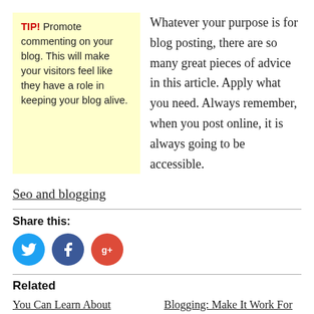TIP! Promote commenting on your blog. This will make your visitors feel like they have a role in keeping your blog alive.
Whatever your purpose is for blog posting, there are so many great pieces of advice in this article. Apply what you need. Always remember, when you post online, it is always going to be accessible.
Seo and blogging
Share this:
[Figure (infographic): Three social share icon circles: Twitter (blue), Facebook (dark blue), Google+ (red)]
Related
You Can Learn About Running A Blog With These Tips
Blogging: Make It Work For You
April 17, 2018